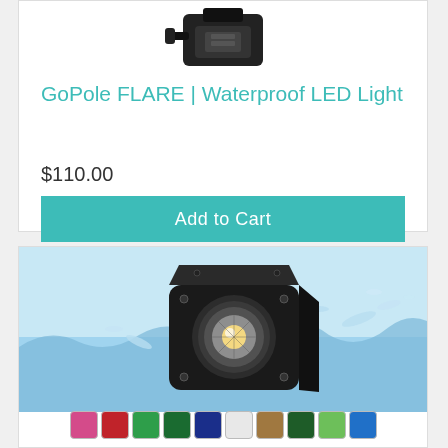[Figure (photo): Partial view of a GoPole camera mount accessory (black) cropped at top]
GoPole FLARE | Waterproof LED Light
$110.00
Add to Cart
[Figure (photo): Black waterproof LED light cube partially submerged in splashing blue water]
[Figure (infographic): Row of 10 color swatches: pink, red, green, dark green, dark blue, light/white, tan/brown, dark green, light green, blue]